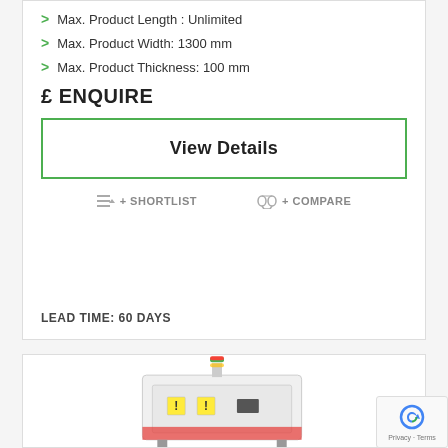Max. Product Length : Unlimited
Max. Product Width: 1300 mm
Max. Product Thickness: 100 mm
£ ENQUIRE
View Details
+ SHORTLIST
+ COMPARE
LEAD TIME: 60 DAYS
[Figure (photo): Industrial machine equipment, white box-shaped unit with warning labels, red/green signal light tower on top, partially visible at bottom of page]